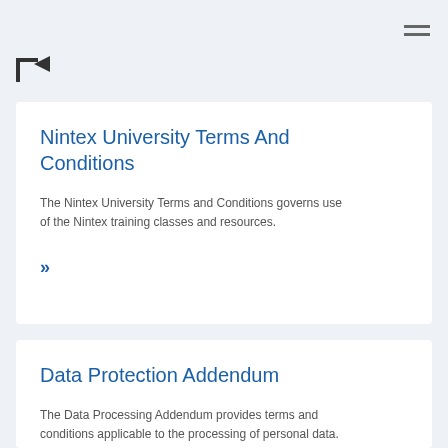[Figure (logo): Partial logo icon in top left area, square bracket with arrow shape]
Nintex University Terms And Conditions
The Nintex University Terms and Conditions governs use of the Nintex training classes and resources.
>>
Data Protection Addendum
The Data Processing Addendum provides terms and conditions applicable to the processing of personal data.